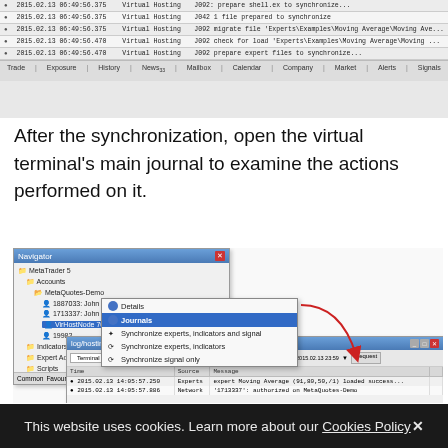[Figure (screenshot): MetaTrader virtual hosting synchronization log showing multiple rows with timestamps (2015.02.13), VirtualHosting source, and J092 messages about prepare, file, migrate, check, prepare operations with file paths.]
After the synchronization, open the virtual terminal's main journal to examine the actions performed on it.
[Figure (screenshot): Navigator window showing MetaTrader 5 account tree with MetaQuotes-Demo accounts including 1887033 John Smith, 1713337 John Smith, and a highlighted account, with a right-click context menu showing Details, Journals (highlighted in blue), Synchronize experts indicators and signal, Synchronize experts indicators, Synchronize signal only options. A red arrow points down to a log window titled log/hosting 7092 terminal showing a toolbar with Terminal dropdown, search field, Full dropdown, date range 2015.02.13 00:00 to 2015.02.13 23:59, and Request button, with log entries showing Time, Source, Message columns with entries for 2015.02.13 14:05:57.250 Experts and 2015.02.13 14:05:57.886 Network.]
This website uses cookies. Learn more about our Cookies Policy✕